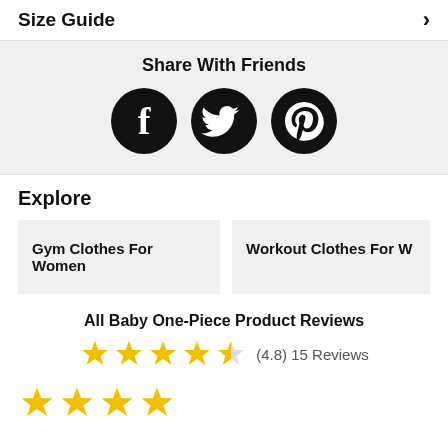Size Guide ›
Share With Friends
[Figure (illustration): Three social media share buttons: Facebook, Twitter, Pinterest — black circular icons with white logos]
Explore
Gym Clothes For Women
Workout Clothes For W
All Baby One-Piece Product Reviews
[Figure (other): 4.5 star rating: 4 full yellow stars and 1 half star]
(4.8) 15 Reviews
[Figure (other): 4 full yellow stars at the bottom of the page]